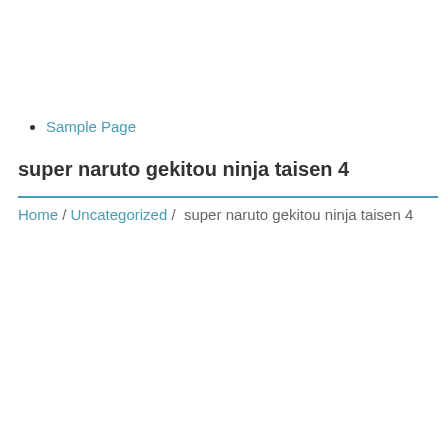Sample Page
super naruto gekitou ninja taisen 4
Home / Uncategorized / super naruto gekitou ninja taisen 4